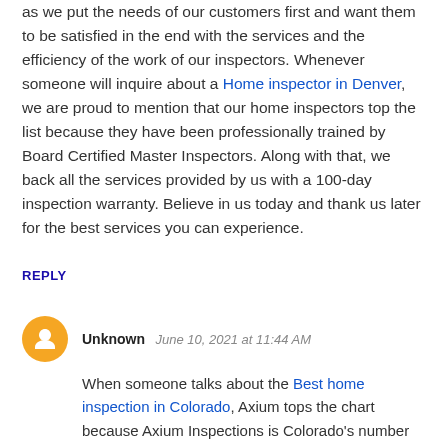as we put the needs of our customers first and want them to be satisfied in the end with the services and the efficiency of the work of our inspectors. Whenever someone will inquire about a Home inspector in Denver, we are proud to mention that our home inspectors top the list because they have been professionally trained by Board Certified Master Inspectors. Along with that, we back all the services provided by us with a 100-day inspection warranty. Believe in us today and thank us later for the best services you can experience.
REPLY
Unknown   June 10, 2021 at 11:44 AM
When someone talks about the Best home inspection in Colorado, Axium tops the chart because Axium Inspections is Colorado's number one home inspection company with more than 3000 5-star reviews and the most certified home inspectors with InterNACHI certifications and a long list of satisfied customers. We ensure Quality home